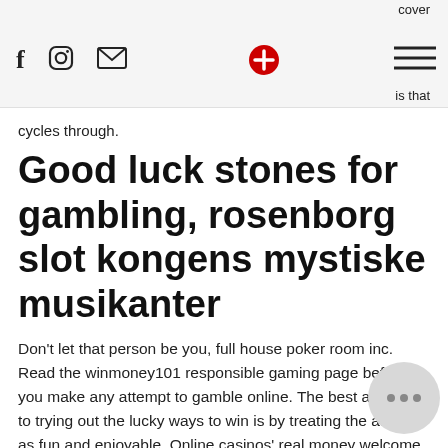cover  is that
cycles through.
Good luck stones for gambling, rosenborg slot kongens mystiske musikanter
Don't let that person be you, full house poker room inc. Read the winmoney101 responsible gaming page before you make any attempt to gamble online. The best approach to trying out the lucky ways to win is by treating the attempt as fun and enjoyable. Online casinos' real money welcome bonuses usually come with some conditions attached and a common fear of these conditions are time limits, full house poker room inc. Other positive online casino